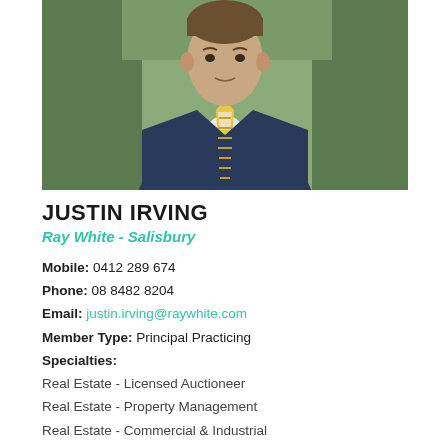[Figure (photo): Professional headshot of Justin Irving wearing a navy blue suit with a yellow and white striped tie, standing outdoors in front of green foliage.]
JUSTIN IRVING
Ray White - Salisbury
Mobile: 0412 289 674
Phone: 08 8482 8204
Email: justin.irving@raywhite.com
Member Type: Principal Practicing
Specialties:
Real Estate - Licensed Auctioneer
Real Estate - Property Management
Real Estate - Commercial & Industrial